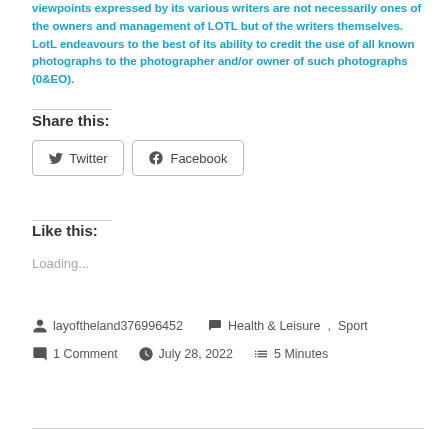viewpoints expressed by its various writers are not necessarily ones of the owners and management of LOTL but of the writers themselves.  LotL endeavours to the best of its ability to credit the use of all known photographs to the photographer and/or owner of such photographs (0&EO).
Share this:
Twitter  Facebook
Like this:
Loading...
layoftheland376996452   Health & Leisure,  Sport   1 Comment   July 28, 2022   5 Minutes